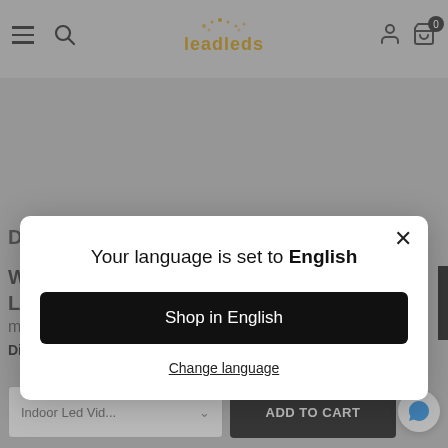Leadleds website navigation bar with hamburger menu, search icon, logo, user icon, and cart (0 items)
[Figure (screenshot): Leadleds e-commerce website page partially visible behind a modal dialog overlay. Background shows product page with partial text and navigation bar.]
Your language is set to English
Shop in English
Change language
Display Video--- Yes
Indoor Led Vid...
ADD TO CART